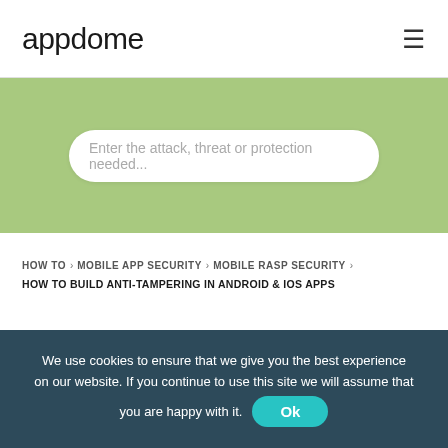appdome
[Figure (screenshot): Green banner with search box containing placeholder text: Enter the attack, threat or protection needed...]
HOW TO > MOBILE APP SECURITY > MOBILE RASP SECURITY >
HOW TO BUILD ANTI-TAMPERING IN ANDROID & IOS APPS
How to Build Anti-
We use cookies to ensure that we give you the best experience on our website. If you continue to use this site we will assume that you are happy with it. Ok